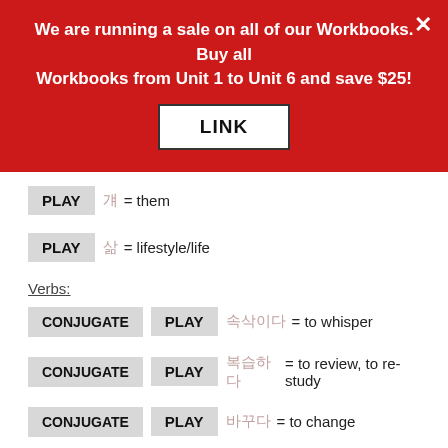We are running a sale on all of our Workbooks. Buy all Workbooks from Unit 1 to Unit 6 and save $25!
LINK
PLAY 걔 = them
PLAY 삶 = lifestyle/life
Verbs:
CONJUGATE PLAY 속삭이다 = to whisper
CONJUGATE PLAY 복습하다 = to review, to re-study
CONJUGATE PLAY 바꾸다 = to change
CONJUGATE PLAY 유학하다 = to study abroad